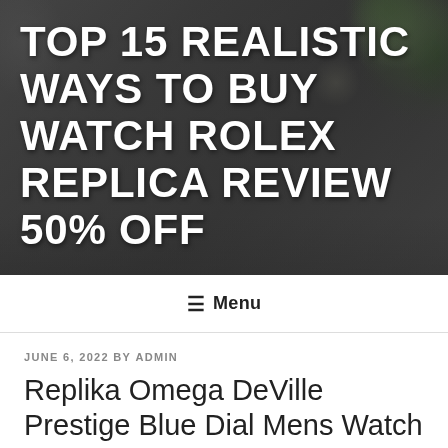[Figure (photo): Hero banner with dark background showing a plant and decorative objects on a table]
TOP 15 REALISTIC WAYS TO BUY WATCH ROLEX REPLICA REVIEW 50% OFF
≡ Menu
JUNE 6, 2022 BY ADMIN
Replika Omega DeVille Prestige Blue Dial Mens Watch 424.10.40.20.03.002 Box CardOmega DeVille Prestige Butterfly Diamond Watch 424.22.33.20.55.001 Unworn With 50% Discount